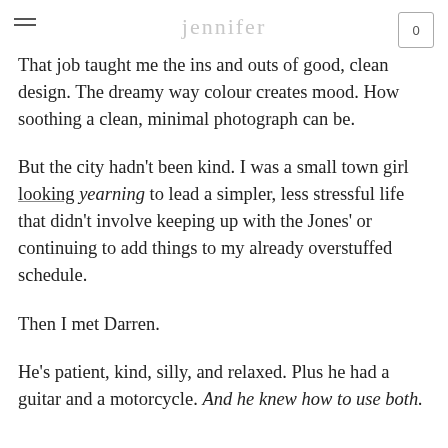jennifer
That job taught me the ins and outs of good, clean design. The dreamy way colour creates mood. How soothing a clean, minimal photograph can be.
But the city hadn't been kind. I was a small town girl looking yearning to lead a simpler, less stressful life that didn't involve keeping up with the Jones' or continuing to add things to my already overstuffed schedule.
Then I met Darren.
He's patient, kind, silly, and relaxed. Plus he had a guitar and a motorcycle. And he knew how to use both.